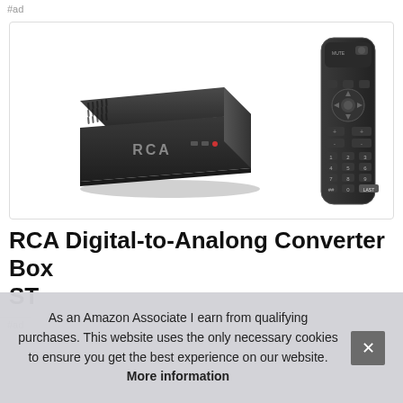#ad
[Figure (photo): RCA Digital-to-Analog Converter Box and remote control product image on white background inside a rounded-corner bordered box]
RCA Digital-to-Analong Converter Box
ST
#ad
As an Amazon Associate I earn from qualifying purchases. This website uses the only necessary cookies to ensure you get the best experience on our website. More information